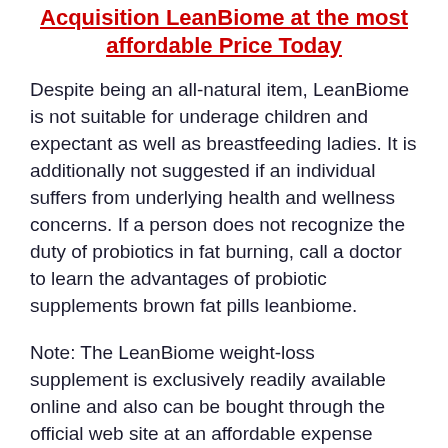Acquisition LeanBiome at the most affordable Price Today
Despite being an all-natural item, LeanBiome is not suitable for underage children and expectant as well as breastfeeding ladies. It is additionally not suggested if an individual suffers from underlying health and wellness concerns. If a person does not recognize the duty of probiotics in fat burning, call a doctor to learn the advantages of probiotic supplements brown fat pills leanbiome.
Note: The LeanBiome weight-loss supplement is exclusively readily available online and also can be bought through the official web site at an affordable expense utilizing this link.